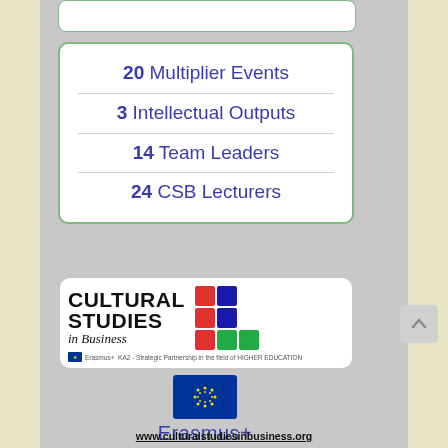[Figure (infographic): White rounded box with green border listing program stats: 20 Multiplier Events, 3 Intellectual Outputs, 14 Team Leaders, 24 CSB Lecturers in blue text]
[Figure (logo): Cultural Studies in Business logo with colorful grid squares and Erasmus+ branding]
[Figure (logo): Erasmus+ logo with EU flag and Erasmus+ text in blue]
www.culturalstudiesinbusiness.org